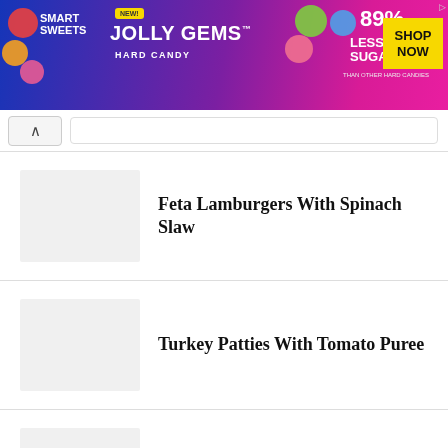[Figure (photo): SmartSweets Jolly Gems Hard Candy advertisement banner. Blue and pink gradient background with candy imagery, '89% Less Sugar than other hard candies', and 'Shop Now' yellow button.]
Feta Lamburgers With Spinach Slaw
Turkey Patties With Tomato Puree
Best Grilled Aussie Hamburger